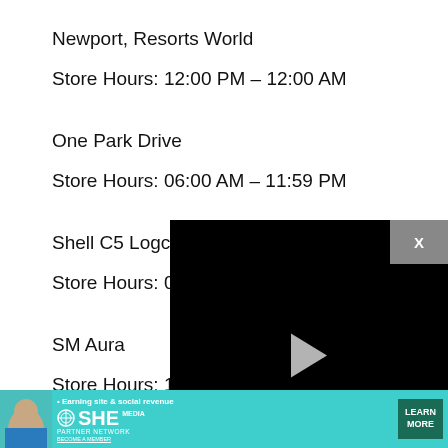Newport, Resorts World
Store Hours: 12:00 PM – 12:00 AM
One Park Drive
Store Hours: 06:00 AM – 11:59 PM
Shell C5 Logcom (Drive-thru)
Store Hours: 06:00 A...
[Figure (screenshot): Video player overlay showing a black screen with a play button, progress bar at about 0%, timestamp 13:52, and controls including mute, CC, grid, settings, and fullscreen buttons.]
SM Aura
Store Hours: 10:00 A...
Starmall, Taguig
[Figure (screenshot): Advertisement banner for SHE Media Partner Network: 'Earning site & social revenue' with LEARN MORE button on teal background.]